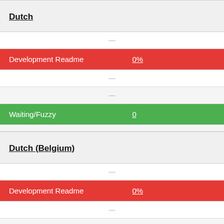Dutch
|  |  |
| --- | --- |
|  | — |
| Development Readme | 0% |
|  | — |
|  | — |
| Waiting/Fuzzy | 0 |
Dutch (Belgium)
|  |  |
| --- | --- |
|  | — |
| Development Readme | 0% |
|  | — |
|  | — |
| Waiting/Fuzzy | 0 |